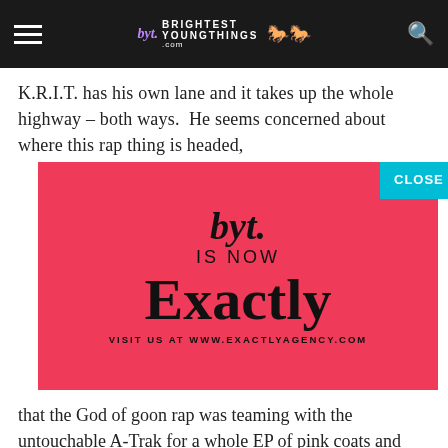Brightest Young Things - byt.
K.R.I.T. has his own lane and it takes up the whole highway – both ways.  He seems concerned about where this rap thing is headed,
[Figure (infographic): Pink/red advertisement overlay with byt. logo in cursive, 'IS NOW', 'Exactly' in large bold serif, 'VISIT US AT WWW.EXACTLYAGENCY.COM'. A teal 'CLOSE' button appears in the top right corner.]
that the God of goon rap was teaming with the untouchable A-Trak for a whole EP of pink coats and white coke.  I still am.  Here,